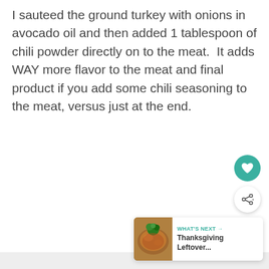I sauteed the ground turkey with onions in avocado oil and then added 1 tablespoon of chili powder directly on to the meat.  It adds WAY more flavor to the meat and final product if you add some chili seasoning to the meat, versus just at the end.
[Figure (other): Floating heart (favorites) button in teal, floating share button in white with share icon, and a 'What's Next' card showing a food thumbnail image with text 'WHAT'S NEXT → Thanksgiving Leftover...']